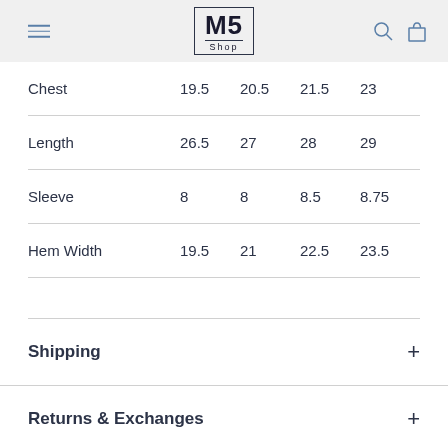M5 Shop
|  |  |  |  |  |
| --- | --- | --- | --- | --- |
| Chest | 19.5 | 20.5 | 21.5 | 23 |
| Length | 26.5 | 27 | 28 | 29 |
| Sleeve | 8 | 8 | 8.5 | 8.75 |
| Hem Width | 19.5 | 21 | 22.5 | 23.5 |
Shipping
Returns & Exchanges